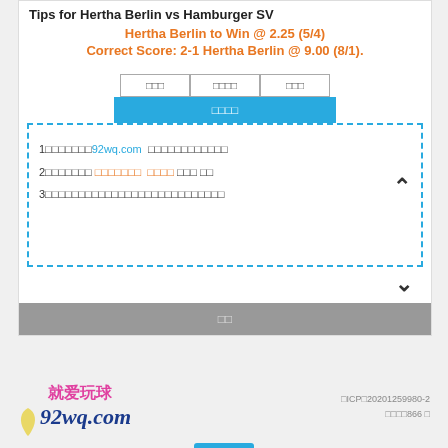Tips for Hertha Berlin vs Hamburger SV
Hertha Berlin to Win @ 2.25 (5/4)
Correct Score: 2-1 Hertha Berlin @ 9.00 (8/1).
[Figure (screenshot): UI tabs and dashed content box with list items and navigation chevrons]
1□□□□□□□92wq.com □□□□□□□□□□□□
2□□□□□□□ □□□□□□□ □□□□ □□□ □□
3□□□□□□□□□□□□□□□□□□□□□□□□□□□
就爱玩球 92wq.com □ICP□20201259980-2 □□□□866 □